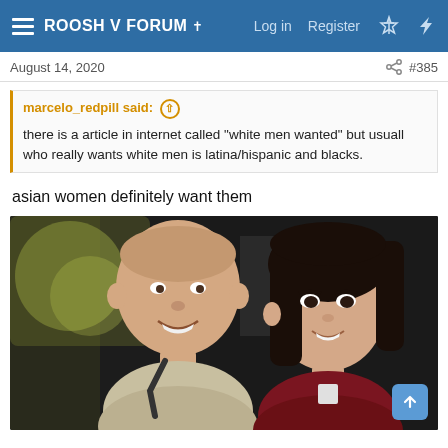ROOSH V FORUM | Log in  Register
August 14, 2020   #385
marcelo_redpill said: ↑
there is a article in internet called "white men wanted" but usuall who really wants white men is latina/hispanic and blacks.
asian women definitely want them
[Figure (photo): Selfie photo of a white man and an Asian woman smiling together at night]